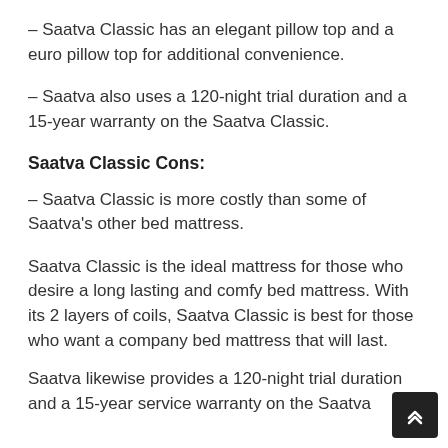– Saatva Classic has an elegant pillow top and a euro pillow top for additional convenience.
– Saatva also uses a 120-night trial duration and a 15-year warranty on the Saatva Classic.
Saatva Classic Cons:
– Saatva Classic is more costly than some of Saatva's other bed mattress.
Saatva Classic is the ideal mattress for those who desire a long lasting and comfy bed mattress. With its 2 layers of coils, Saatva Classic is best for those who want a company bed mattress that will last.
Saatva likewise provides a 120-night trial duration and a 15-year service warranty on the Saatva